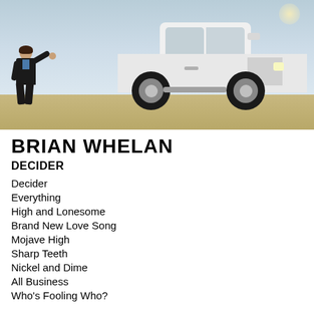[Figure (photo): Album cover photo showing a person in a dark suit with arm outstretched on the left, and a large white pickup truck on the right, against an open sky background.]
BRIAN WHELAN
DECIDER
Decider
Everything
High and Lonesome
Brand New Love Song
Mojave High
Sharp Teeth
Nickel and Dime
All Business
Who's Fooling Who?